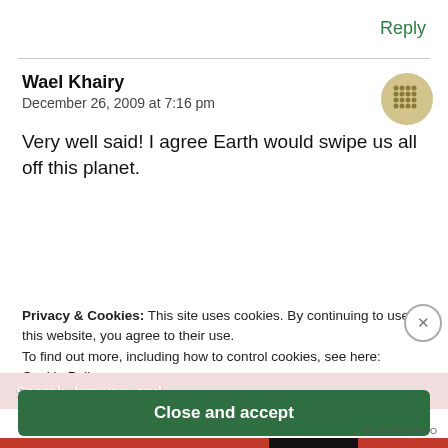Reply
Wael Khairy
December 26, 2009 at 7:16 pm
Very well said! I agree Earth would swipe us all off this planet.
Privacy & Cookies: This site uses cookies. By continuing to use this website, you agree to their use.
To find out more, including how to control cookies, see here:
Cookie Policy
Close and accept